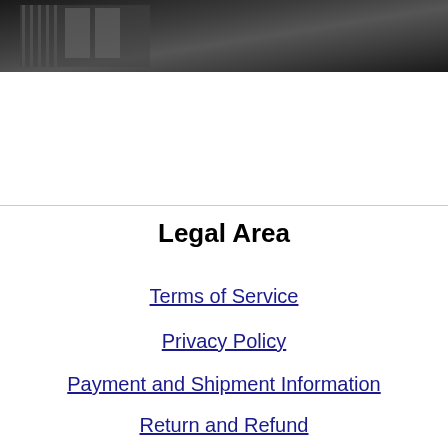[Figure (photo): Dark grayscale photo strip at the top of the page, showing what appears to be industrial or urban scenery]
Legal Area
Terms of Service
Privacy Policy
Payment and Shipment Information
Return and Refund
Payment and Shipment Information